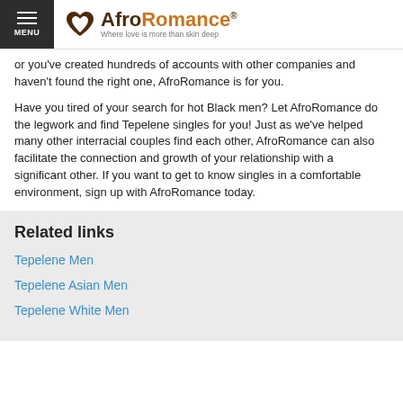MENU | AfroRomance® Where love is more than skin deep
or you've created hundreds of accounts with other companies and haven't found the right one, AfroRomance is for you.
Have you tired of your search for hot Black men? Let AfroRomance do the legwork and find Tepelene singles for you! Just as we've helped many other interracial couples find each other, AfroRomance can also facilitate the connection and growth of your relationship with a significant other. If you want to get to know singles in a comfortable environment, sign up with AfroRomance today.
Related links
Tepelene Men
Tepelene Asian Men
Tepelene White Men